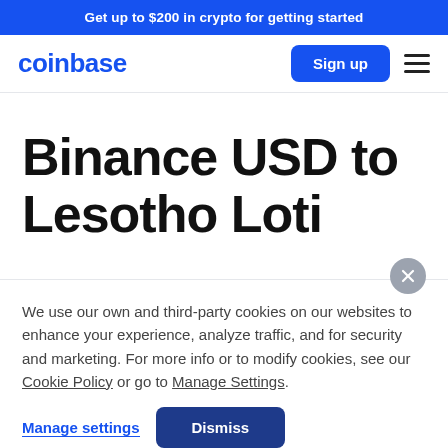Get up to $200 in crypto for getting started
[Figure (logo): Coinbase logo with 'coinbase' text in blue, Sign up button, and hamburger menu]
Binance USD to Lesotho Loti
We use our own and third-party cookies on our websites to enhance your experience, analyze traffic, and for security and marketing. For more info or to modify cookies, see our Cookie Policy or go to Manage Settings.
Manage settings  Dismiss